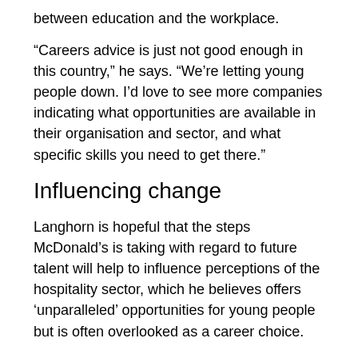between education and the workplace.
“Careers advice is just not good enough in this country,” he says. “We’re letting young people down. I’d love to see more companies indicating what opportunities are available in their organisation and sector, and what specific skills you need to get there.”
Influencing change
Langhorn is hopeful that the steps McDonald’s is taking with regard to future talent will help to influence perceptions of the hospitality sector, which he believes offers ‘unparalleled’ opportunities for young people but is often overlooked as a career choice.
“Good jobs are good for people,” he says. “We shouldn’t denigrate jobs, regardless of what sector they are in, as long as they provide opportunity.”
Ultimately, Langhorn recognises the need for businesses to